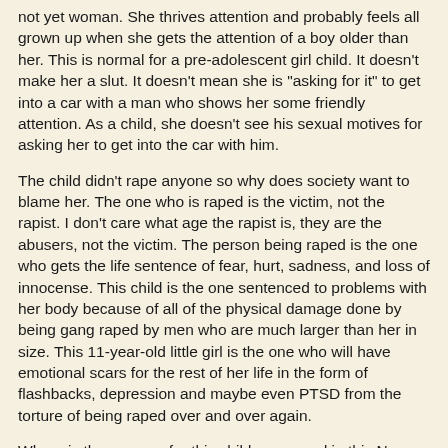not yet woman. She thrives attention and probably feels all grown up when she gets the attention of a boy older than her. This is normal for a pre-adolescent girl child. It doesn't make her a slut. It doesn't mean she is "asking for it" to get into a car with a man who shows her some friendly attention. As a child, she doesn't see his sexual motives for asking her to get into the car with him.
The child didn't rape anyone so why does society want to blame her. The one who is raped is the victim, not the rapist. I don't care what age the rapist is, they are the abusers, not the victim. The person being raped is the one who gets the life sentence of fear, hurt, sadness, and loss of innocense. This child is the one sentenced to problems with her body because of all of the physical damage done by being gang raped by men who are much larger than her in size. This 11-year-old little girl is the one who will have emotional scars for the rest of her life in the form of flashbacks, depression and maybe even PTSD from the torture of being raped over and over again.
Where is the concern for this child expressed in this New York Times article? How could the newspaper or the author